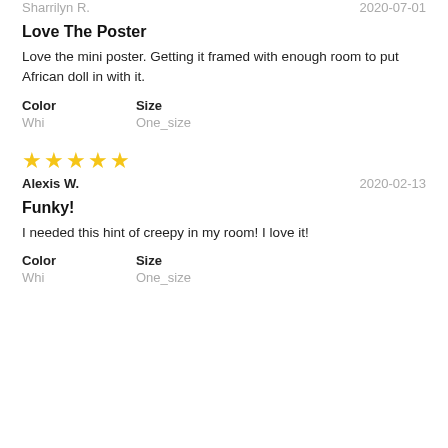Sharrilyn R.                              2020-07-01
Love The Poster
Love the mini poster. Getting it framed with enough room to put African doll in with it.
Color
Whi
Size
One_size
[Figure (other): 5 gold star rating]
Alexis W.                                 2020-02-13
Funky!
I needed this hint of creepy in my room! I love it!
Color
Whi
Size
One_size